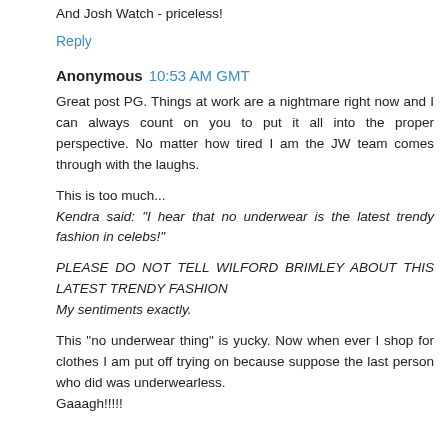And Josh Watch - priceless!
Reply
Anonymous  10:53 AM GMT
Great post PG. Things at work are a nightmare right now and I can always count on you to put it all into the proper perspective. No matter how tired I am the JW team comes through with the laughs.
This is too much...
Kendra said: "I hear that no underwear is the latest trendy fashion in celebs!"
PLEASE DO NOT TELL WILFORD BRIMLEY ABOUT THIS LATEST TRENDY FASHION
My sentiments exactly.
This "no underwear thing" is yucky. Now when ever I shop for clothes I am put off trying on because suppose the last person who did was underwearless.
Gaaagh!!!!!